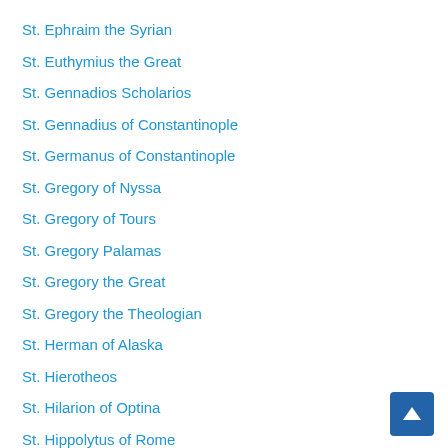St. Ephraim the Syrian
St. Euthymius the Great
St. Gennadios Scholarios
St. Gennadius of Constantinople
St. Germanus of Constantinople
St. Gregory of Nyssa
St. Gregory of Tours
St. Gregory Palamas
St. Gregory the Great
St. Gregory the Theologian
St. Herman of Alaska
St. Hierotheos
St. Hilarion of Optina
St. Hippolytus of Rome
St. Ignatius Brianchaninov